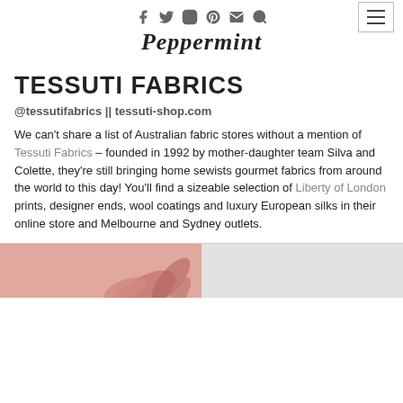Social icons (Facebook, Twitter, Instagram, Pinterest, Email, Search) and hamburger menu button
Peppermint
TESSUTI FABRICS
@tessutifabrics || tessuti-shop.com
We can't share a list of Australian fabric stores without a mention of Tessuti Fabrics – founded in 1992 by mother-daughter team Silva and Colette, they're still bringing home sewists gourmet fabrics from around the world to this day! You'll find a sizeable selection of Liberty of London prints, designer ends, wool coatings and luxury European silks in their online store and Melbourne and Sydney outlets.
[Figure (photo): Two-panel image strip: left panel shows a pink/salmon background with floral fabric detail, right panel shows a light grey background.]